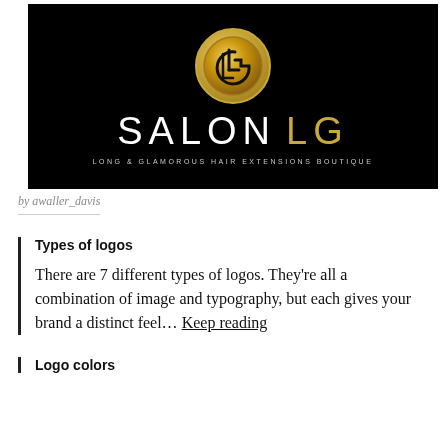[Figure (logo): Salon LG logo: black background with gold circular monogram, white text SALON and gold LG, tagline LONG & GLAMOROUS HAIR EXTENSIONS BOUTIQUE]
by awaller_davis
Types of logos
There are 7 different types of logos. They’re all a combination of image and typography, but each gives your brand a distinct feel… Keep reading
Logo colors